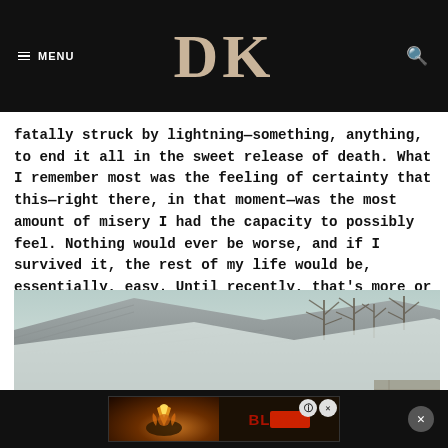≡ MENU   DK   🔍
fatally struck by lightning—something, anything, to end it all in the sweet release of death. What I remember most was the feeling of certainty that this—right there, in that moment—was the most amount of misery I had the capacity to possibly feel. Nothing would ever be worse, and if I survived it, the rest of my life would be, essentially, easy. Until recently, that's more or less held true.
[Figure (photo): Outdoor photo showing a rooftop with grey tiles/corrugated metal in the foreground and bare trees against a light sky in the background]
[Figure (photo): Advertisement banner overlay showing a dark game promotional image with a glowing orb/sphere and text 'BL___' partially visible, with close controls]